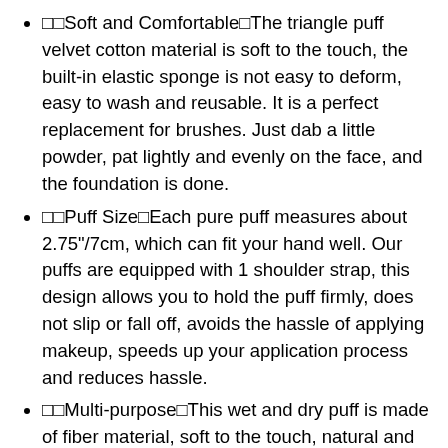🔲🔲Soft and Comfortable🔲The triangle puff velvet cotton material is soft to the touch, the built-in elastic sponge is not easy to deform, easy to wash and reusable. It is a perfect replacement for brushes. Just dab a little powder, pat lightly and evenly on the face, and the foundation is done.
🔲🔲Puff Size🔲Each pure puff measures about 2.75"/7cm, which can fit your hand well. Our puffs are equipped with 1 shoulder strap, this design allows you to hold the puff firmly, does not slip or fall off, avoids the hassle of applying makeup, speeds up your application process and reduces hassle.
🔲🔲Multi-purpose🔲This wet and dry puff is made of fiber material, soft to the touch, natural and even makeup, suitable for liquid foundation, base cream, BB cream,